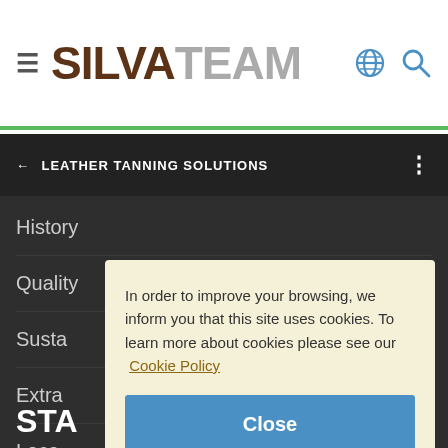SILVATEAM
← LEATHER TANNING SOLUTIONS
History
Quality
Susta
Extra
Loca
In order to improve your browsing, we inform you that this site uses cookies. To learn more about cookies please see our Cookie Policy
Close
STA